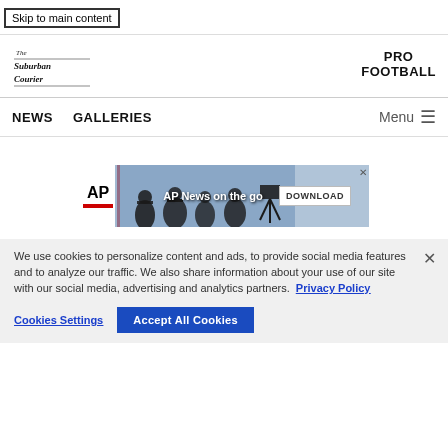Skip to main content
[Figure (logo): Suburban Courier newspaper logo]
PRO FOOTBALL
NEWS
GALLERIES
Menu
[Figure (screenshot): AP News on the go - advertisement banner with silhouetted figures, AP logo, and DOWNLOAD button]
We use cookies to personalize content and ads, to provide social media features and to analyze our traffic. We also share information about your use of our site with our social media, advertising and analytics partners. Privacy Policy
Cookies Settings  Accept All Cookies